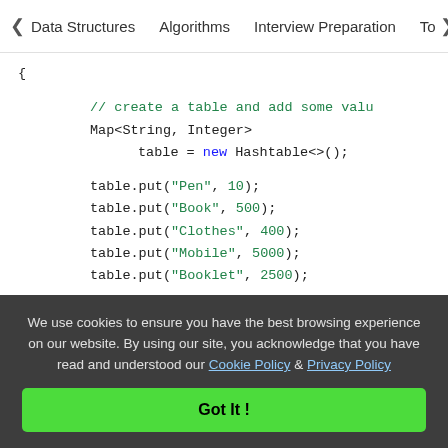< Data Structures   Algorithms   Interview Preparation   To>
{
    // create a table and add some valu
    Map<String, Integer>
            table = new Hashtable<>();

    table.put("Pen", 10);
    table.put("Book", 500);
    table.put("Clothes", 400);
    table.put("Mobile", 5000);
    table.put("Booklet", 2500);

    // add 100 in each value using forE
    table.forEach((k, v) -> {
We use cookies to ensure you have the best browsing experience on our website. By using our site, you acknowledge that you have read and understood our Cookie Policy & Privacy Policy
Got It !